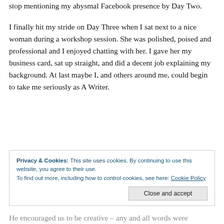stop mentioning my abysmal Facebook presence by Day Two.
I finally hit my stride on Day Three when I sat next to a nice woman during a workshop session. She was polished, poised and professional and I enjoyed chatting with her. I gave her my business card, sat up straight, and did a decent job explaining my background. At last maybe I, and others around me, could begin to take me seriously as A Writer.
Privacy & Cookies: This site uses cookies. By continuing to use this website, you agree to their use. To find out more, including how to control cookies, see here: Cookie Policy
Close and accept
He encouraged us to be creative – any and all words were